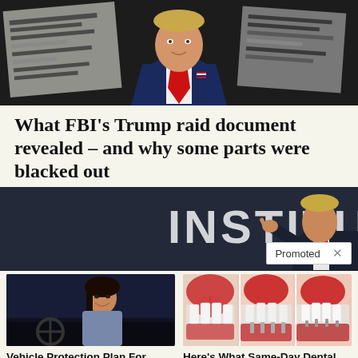[Figure (photo): Photo of Donald Trump in a dark navy suit with a red tie, standing in front of blurred/blacked-out government documents]
What FBI's Trump raid document revealed – and why some parts were blacked out
[Figure (photo): Donald Trump at a podium pointing, with 'INSTITU' text visible in background, dark background]
Promoted ×
[Figure (photo): Woman smiling in car driver's seat]
Vehicle Protection Plan For Every Budget
[Figure (photo): Three panels showing dental implants in open mouths]
Here's What Same-Day Dental Implants Should Cost
🔥 7,902